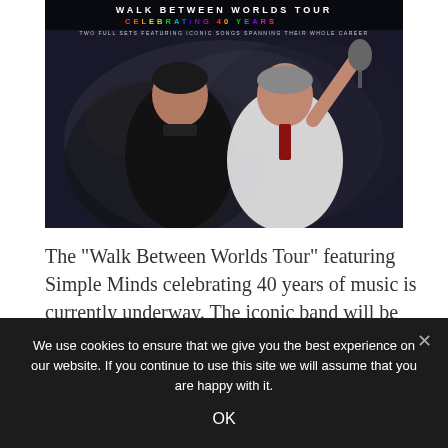[Figure (photo): Concert promotional image for 'Walk Between Worlds Tour' celebrating 40 years with Simple Minds. Two band members posed against a smoky dark background. Text overlay at top reads 'WALK BETWEEN WORLDS TOUR', 'CELEBRATING 40 YEARS' in rainbow colors, and 'TWO FULL SETS FEATURING ICONIC SONGS SPANNING THEIR WHOLE CAREER'.]
The "Walk Between Worlds Tour" featuring Simple Minds celebrating 40 years of music is currently underway. The iconic band will be
We use cookies to ensure that we give you the best experience on our website. If you continue to use this site we will assume that you are happy with it.
OK